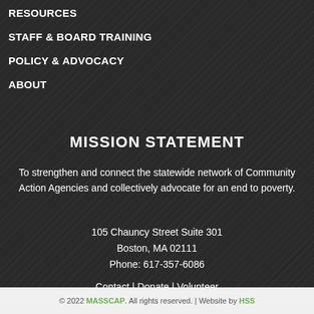RESOURCES
STAFF & BOARD TRAINING
POLICY & ADVOCACY
ABOUT
MISSION STATEMENT
To strengthen and connect the statewide network of Community Action Agencies and collectively advocate for an end to poverty.
105 Chauncy Street Suite 301
Boston, MA 02111
Phone: 617-357-6086
Contact | Donate | Volunteer
© 2022 MASSCAP. All rights reserved. | Website by HSS